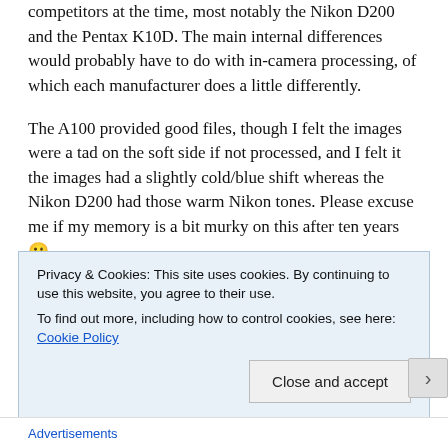competitors at the time, most notably the Nikon D200 and the Pentax K10D. The main internal differences would probably have to do with in-camera processing, of which each manufacturer does a little differently.
The A100 provided good files, though I felt the images were a tad on the soft side if not processed, and I felt it the images had a slightly cold/blue shift whereas the Nikon D200 had those warm Nikon tones. Please excuse me if my memory is a bit murky on this after ten years 🙂
Anyway, the camera was generally good, but not good enough for me so I returned it to B&H within their return
Privacy & Cookies: This site uses cookies. By continuing to use this website, you agree to their use.
To find out more, including how to control cookies, see here: Cookie Policy
Close and accept
Advertisements